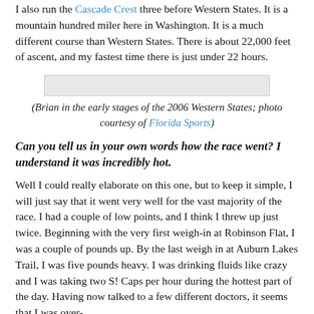I also run the Cascade Crest three before Western States. It is a mountain hundred miler here in Washington. It is a much different course than Western States. There is about 22,000 feet of ascent, and my fastest time there is just under 22 hours.
[Figure (photo): Photo of Brian in the early stages of the 2006 Western States race, courtesy of Florida Sports]
(Brian in the early stages of the 2006 Western States; photo courtesy of Florida Sports)
Can you tell us in your own words how the race went? I understand it was incredibly hot.
Well I could really elaborate on this one, but to keep it simple, I will just say that it went very well for the vast majority of the race. I had a couple of low points, and I think I threw up just twice. Beginning with the very first weigh-in at Robinson Flat, I was a couple of pounds up. By the last weigh in at Auburn Lakes Trail, I was five pounds heavy. I was drinking fluids like crazy and I was taking two S! Caps per hour during the hottest part of the day. Having now talked to a few different doctors, it seems that I was over-